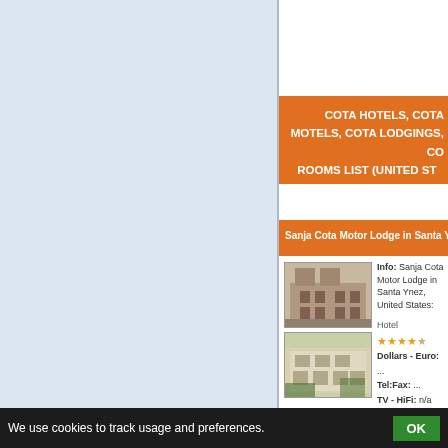COTA HOTELS, COTA MOTELS, COTA LODGINGS, CO... ROOMS LIST (UNITED STA...
Sanja Cota Motor Lodge in Santa Ynez, Cal...
[Figure (photo): Photo of hotel building exterior - brick/tan colored multi-story building]
[Figure (photo): Photo of hotel exterior - cream colored building with balconies and trees]
Info: Sanja Cota Motor Lodge in Santa Ynez, United States:
Hotel ★★★★☆
Dollars - Euro: ...
Tel:Fax: ...
TV - HiFi: n/a
Clima: n/a
Frigobar: n/a
Desc: See 3 traveler reviews, 2 candid photos, and great deals f... The faster, easier way to find the hotel you want. Just Orbitz and...
In: United States
Web Site: Sanja Cota Motor Lodge in Santa Ynez, California - M...
Web Link: http://www.tripadvisor.com/Hotel_Review-g33056-d27...
We use cookies to track usage and preferences. OK